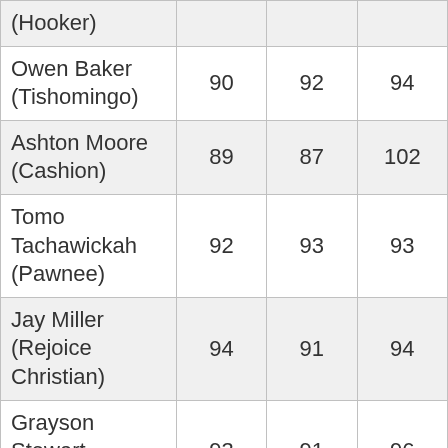| (Hooker) |  |  |  |
| Owen Baker (Tishomingo) | 90 | 92 | 94 |
| Ashton Moore (Cashion) | 89 | 87 | 102 |
| Tomo Tachawickah (Pawnee) | 92 | 93 | 93 |
| Jay Miller (Rejoice Christian) | 94 | 91 | 94 |
| Grayson Stewart (Cashion) | 93 | 91 | 96 |